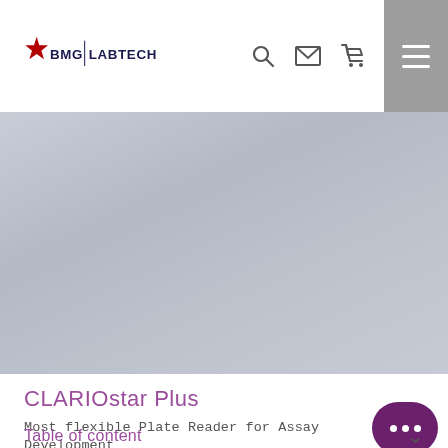BMG LABTECH
[Figure (photo): Gray hero image area showing a product photo placeholder with gradient gray background]
CLARIOstar Plus
Most flexible Plate Reader for Assay Development
Table of content